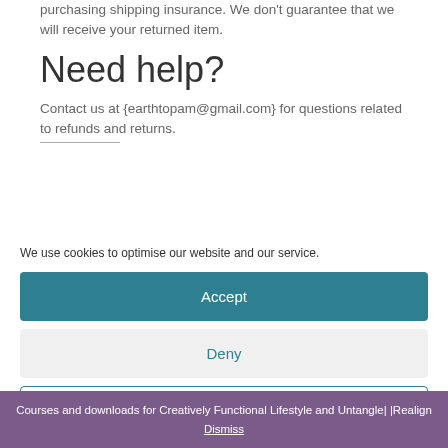purchasing shipping insurance. We don't guarantee that we will receive your returned item.
Need help?
Contact us at {earthtopam@gmail.com} for questions related to refunds and returns.
We use cookies to optimise our website and our service.
Accept
Deny
Preferences
Courses and downloads for Creatively Functional Lifestyle and Untangle| |Realign Dismiss